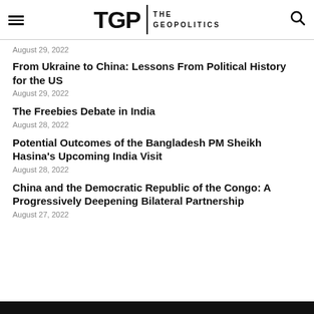TGP THE GEOPOLITICS
August 29, 2022
From Ukraine to China: Lessons From Political History for the US
August 29, 2022
The Freebies Debate in India
August 28, 2022
Potential Outcomes of the Bangladesh PM Sheikh Hasina's Upcoming India Visit
August 28, 2022
China and the Democratic Republic of the Congo: A Progressively Deepening Bilateral Partnership
August 27, 2022